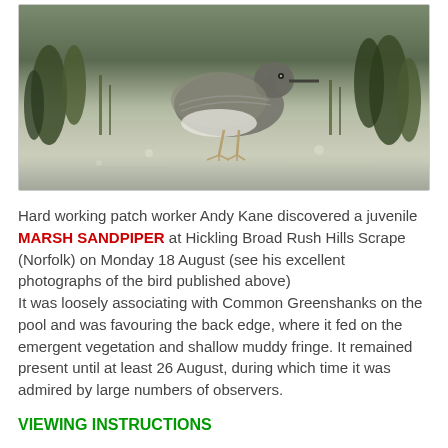[Figure (photo): Photograph of a juvenile Marsh Sandpiper wading in shallow water with green vegetation in the background]
Hard working patch worker Andy Kane discovered a juvenile MARSH SANDPIPER at Hickling Broad Rush Hills Scrape (Norfolk) on Monday 18 August (see his excellent photographs of the bird published above)
It was loosely associating with Common Greenshanks on the pool and was favouring the back edge, where it fed on the emergent vegetation and shallow muddy fringe. It remained present until at least 26 August, during which time it was admired by large numbers of observers.
VIEWING INSTRUCTIONS
Rush Hills Scrape is accessed along the Weavers Way public footpath, from where a hide overlooks the area. Park sensibly around the 'green triangle' in Potter Heigham village (by the church) and take the footpath east and northeast to the reserve. After some 600 yards, you will enter the small